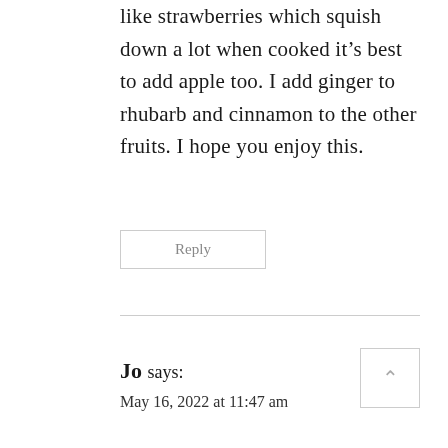like strawberries which squish down a lot when cooked it's best to add apple too. I add ginger to rhubarb and cinnamon to the other fruits. I hope you enjoy this.
Reply
Jo says:
May 16, 2022 at 11:47 am